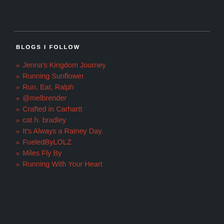BLOGS I FOLLOW
Jenna's Kingdom Journey
Running Sunflower
Run, Eat, Ralph
@melbrender
Crafted in Carhartt
cat h. bradley
It's Always a Rainey Day.
FueledByLOLZ
Miles Fly By
Running With Your Heart